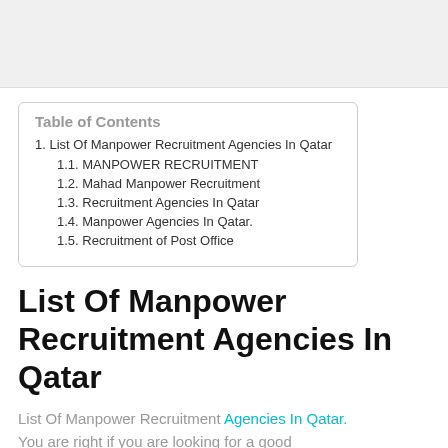[Figure (other): Gray advertisement banner at top of page]
| Table of Contents |
| 1. List Of Manpower Recruitment Agencies In Qatar |
| 1.1. MANPOWER RECRUITMENT |
| 1.2. Mahad Manpower Recruitment |
| 1.3. Recruitment Agencies In Qatar |
| 1.4. Manpower Agencies In Qatar. |
| 1.5. Recruitment of Post Office |
List Of Manpower Recruitment Agencies In Qatar
List Of Manpower Recruitment Agencies In Qatar. You are right if you are looking for a good